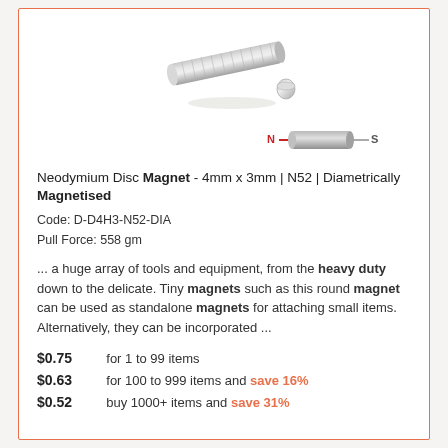[Figure (photo): Stack of small neodymium disc magnets stacked in a rod shape, with one single disc magnet beside it, and a pole diagram showing N-S orientation with a grey cylindrical magnet]
Neodymium Disc Magnet - 4mm x 3mm | N52 | Diametrically Magnetised
Code: D-D4H3-N52-DIA
Pull Force: 558 gm
... a huge array of tools and equipment, from the heavy duty down to the delicate. Tiny magnets such as this round magnet can be used as standalone magnets for attaching small items. Alternatively, they can be incorporated ...
| Price | Description |
| --- | --- |
| $0.75 | for 1 to 99 items |
| $0.63 | for 100 to 999 items and save 16% |
| $0.52 | buy 1000+ items and save 31% |